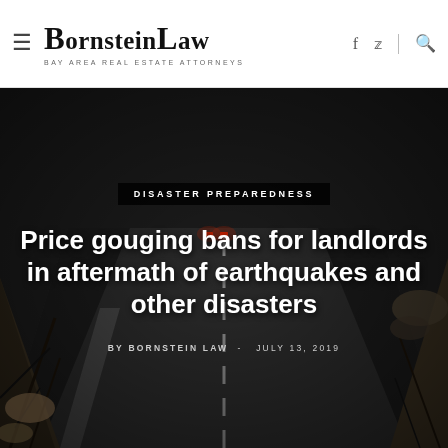BornsteinLaw — BAY AREA REAL ESTATE ATTORNEYS
[Figure (photo): Dark night road with cracked pavement and a vehicle with red lights in the distance, depicting earthquake or disaster damage]
DISASTER PREPAREDNESS
Price gouging bans for landlords in aftermath of earthquakes and other disasters
BY BORNSTEIN LAW  -  JULY 13, 2019